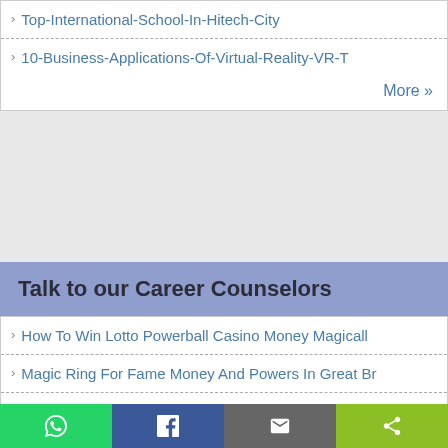Top-International-School-In-Hitech-City
10-Business-Applications-Of-Virtual-Reality-VR-T
More »
Talk to our Career Counselors
How To Win Lotto Powerball Casino Money Magicall
Magic Ring For Fame Money And Powers In Great Br
How To Join Illuminati Secret Society For